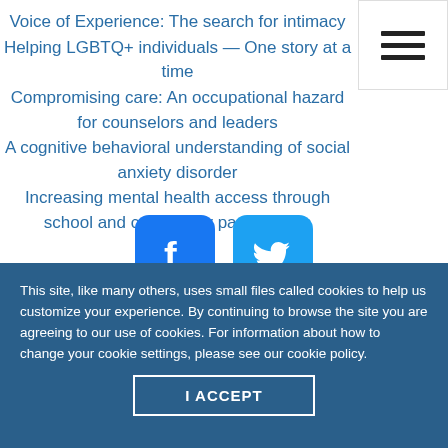Voice of Experience: The search for intimacy
Helping LGBTQ+ individuals — One story at a time
Compromising care: An occupational hazard for counselors and leaders
A cognitive behavioral understanding of social anxiety disorder
Increasing mental health access through school and community partnerships
[Figure (logo): Facebook and Twitter social media icon buttons]
This site, like many others, uses small files called cookies to help us customize your experience. By continuing to browse the site you are agreeing to our use of cookies. For information about how to change your cookie settings, please see our cookie policy.
I ACCEPT